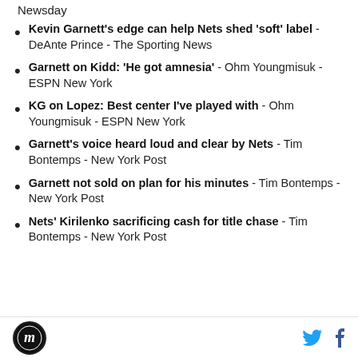Newsday
Kevin Garnett's edge can help Nets shed 'soft' label - DeAnte Prince - The Sporting News
Garnett on Kidd: 'He got amnesia' - Ohm Youngmisuk - ESPN New York
KG on Lopez: Best center I've played with - Ohm Youngmisuk - ESPN New York
Garnett's voice heard loud and clear by Nets - Tim Bontemps - New York Post
Garnett not sold on plan for his minutes - Tim Bontemps - New York Post
Nets' Kirilenko sacrificing cash for title chase - Tim Bontemps - New York Post
Logo | Twitter | Facebook